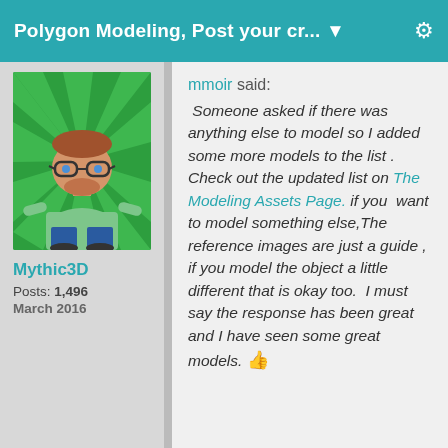Polygon Modeling, Post your cr... ▼
[Figure (illustration): Cartoon avatar of a man with glasses and a beard wearing a green shirt and blue pants, on a green starburst background]
Mythic3D
Posts: 1,496
March 2016
mmoir said:  Someone asked if there was anything else to model so I added some more models to the list . Check out the updated list on The Modeling Assets Page. if you  want to model something else,The reference images are just a guide , if you model the object a little different that is okay too.  I must say the response has been great and I have seen some great models. 👍